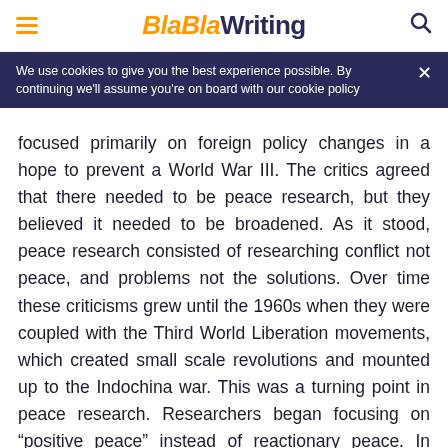BlaBlaWriting
We use cookies to give you the best experience possible. By continuing we'll assume you're on board with our cookie policy
focused primarily on foreign policy changes in a hope to prevent a World War III. The critics agreed that there needed to be peace research, but they believed it needed to be broadened. As it stood, peace research consisted of researching conflict not peace, and problems not the solutions. Over time these criticisms grew until the 1960s when they were coupled with the Third World Liberation movements, which created small scale revolutions and mounted up to the Indochina war. This was a turning point in peace research. Researchers began focusing on “positive peace” instead of reactionary peace. In 1966, John Galtung established the Peace Research Institute in Oslo (PRIO). Shortly after the establishment of PRIO, the Stockholm International Peace Research Institute (SIPRI)